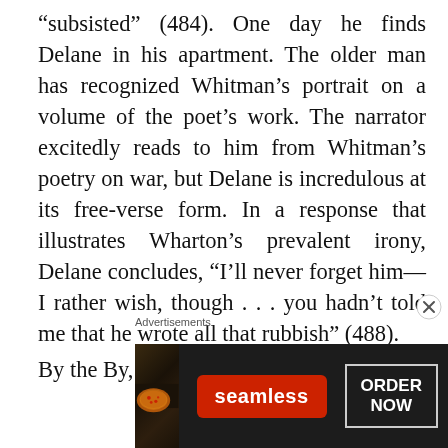“subsisted” (484). One day he finds Delane in his apartment. The older man has recognized Whitman’s portrait on a volume of the poet’s work. The narrator excitedly reads to him from Whitman’s poetry on war, but Delane is incredulous at its free-verse form. In a response that illustrates Wharton’s prevalent irony, Delane concludes, “I’ll never forget him—I rather wish, though . . . you hadn’t told me that he wrote all that rubbish” (488).
By the By, I am...
[Figure (screenshot): Advertisement banner for Seamless food delivery. Shows pizza image on left, Seamless logo in red badge in center, and ORDER NOW button on right, all on dark background. Labeled 'Advertisements' above.]